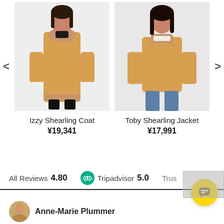[Figure (photo): Woman wearing a tan/camel shearling coat, full length view, light background]
Izzy Shearling Coat
¥19,341
[Figure (photo): Woman wearing a tan/camel shearling jacket, cropped view, light background]
Toby Shearling Jacket
¥17,991
All Reviews 4.80   Tripadvisor 5.0   Trustpilot
Anne-Marie Plummer